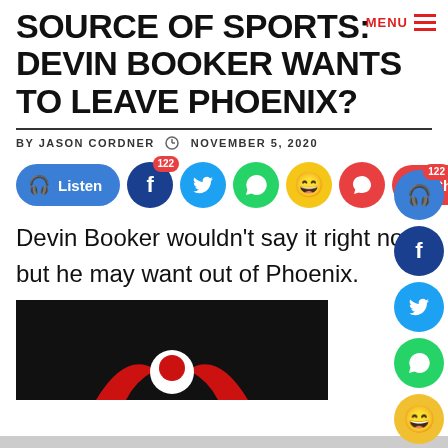SOURCE OF SPORTS: DEVIN BOOKER WANTS TO LEAVE PHOENIX?
BY JASON CORDNER  NOVEMBER 5, 2020
[Figure (screenshot): Social sharing bar with Listen button, Facebook, Twitter, WhatsApp, emoji, comment, Chat and share buttons with 122 badge count]
Devin Booker wouldn't say it right now, but he may want out of Phoenix.
[Figure (screenshot): Black image with red and white logo/icon visible at bottom]